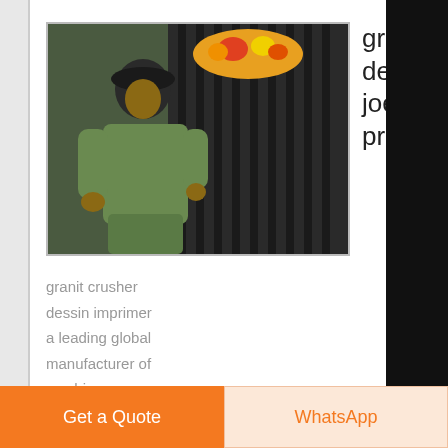[Figure (photo): Photo of a person working with a granite crusher machine, metal grating visible, person wearing dark clothing and hat]
granit crusher dessin imprimer - joerg-steinbach-preisde
granit crusher dessin imprimer a leading global manufacturer of crushing equipment, milling equipment,dressing equipment,drying equipment and
Get a Quote
WhatsApp